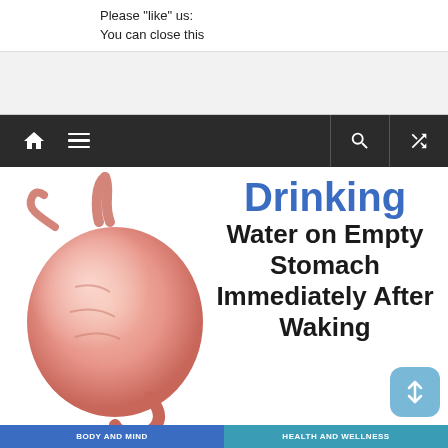Please "like" us:
You can close this
[Figure (screenshot): Dark navigation bar with home icon, hamburger menu on the left and search, shuffle icons on the right]
[Figure (illustration): Health/wellness article hero image showing a stomach illustration on the left and text 'Drinking Water on Empty Stomach Immediately After Waking' on the right with blue and black typography]